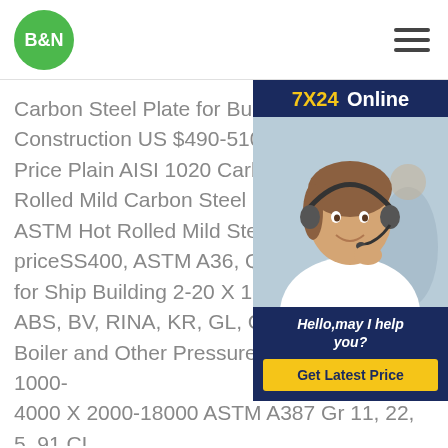B&N
[Figure (photo): Customer service representative wearing a headset, smiling, with 7X24 Online banner and Hello, may I help you? chat widget]
Carbon Steel Plate for Building Material Construction US $490-510 / Ton High Quality Price Plain AISI 1020 Carbon Steel Plate Hot Rolled Mild Carbon Steel Flat Bar - China ASTM Hot Rolled Mild Steel Plate high quality priceSS400, ASTM A36, Q235B, S235 for Ship Building 2-20 X 1000-2000 X ABS, BV, RINA, KR, GL, CCS (A, B,) Steel Plate for Boiler and Other Pressure Vessels 4-120 X 1000-4000 X 2000-18000 ASTM A387 Gr 11, 22, 5, 91 CL 1, 2 ASTM A517 Gr A-Q Steel Plate for High-Yield-Strength, Quenched and Tempered Alloy Steel ASTM Hot Rolled Mild Steel Plate high quality price